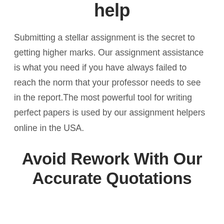help
Submitting a stellar assignment is the secret to getting higher marks. Our assignment assistance is what you need if you have always failed to reach the norm that your professor needs to see in the report.The most powerful tool for writing perfect papers is used by our assignment helpers online in the USA.
Avoid Rework With Our Accurate Quotations